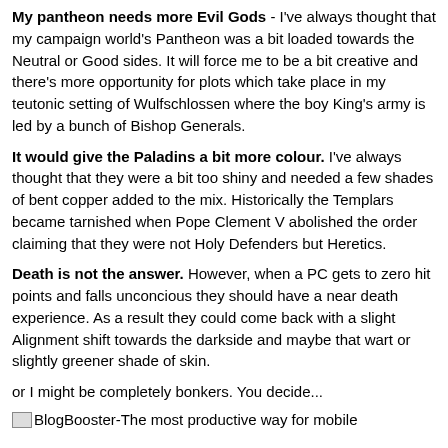My pantheon needs more Evil Gods - I've always thought that my campaign world's Pantheon was a bit loaded towards the Neutral or Good sides. It will force me to be a bit creative and there's more opportunity for plots which take place in my teutonic setting of Wulfschlossen where the boy King's army is led by a bunch of Bishop Generals.
It would give the Paladins a bit more colour. I've always thought that they were a bit too shiny and needed a few shades of bent copper added to the mix. Historically the Templars became tarnished when Pope Clement V abolished the order claiming that they were not Holy Defenders but Heretics.
Death is not the answer. However, when a PC gets to zero hit points and falls unconcious they should have a near death experience. As a result they could come back with a slight Alignment shift towards the darkside and maybe that wart or slightly greener shade of skin.
or I might be completely bonkers. You decide...
[Figure (other): BlogBooster image placeholder with text: BlogBooster-The most productive way for mobile]